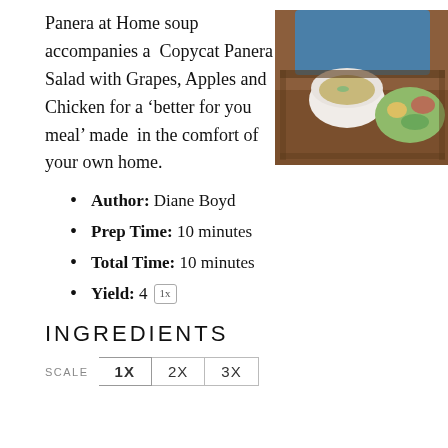Panera at Home soup accompanies a Copycat Panera Salad with Grapes, Apples and Chicken for a ‘better for you meal’ made in the comfort of your own home.
[Figure (photo): Photo of soup in a white bowl and salad on a wooden tray, person in denim shirt in background]
Author: Diane Boyd
Prep Time: 10 minutes
Total Time: 10 minutes
Yield: 4  1x
INGREDIENTS
SCALE  1X  2X  3X